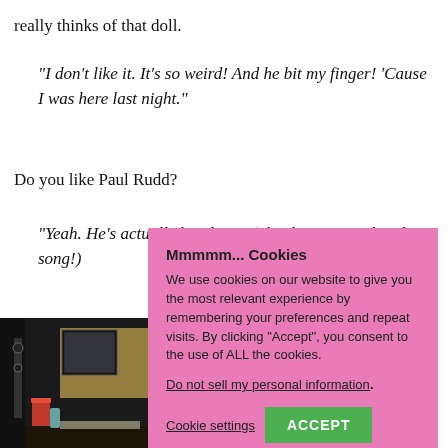really thinks of that doll.
“I don’t like it. It’s so weird! And he bit my finger! ‘Cause I was here last night.”
Do you like Paul Rudd?
“Yeah. He’s actually koo-koo!” (She then sings a koo-koo song!)
[Figure (photo): Photo of a room/set with equipment, a monitor, red cup, and various items on a table]
Mmmmm... Cookies
We use cookies on our website to give you the most relevant experience by remembering your preferences and repeat visits. By clicking “Accept”, you consent to the use of ALL the cookies.
Do not sell my personal information.
Cookie settings  ACCEPT